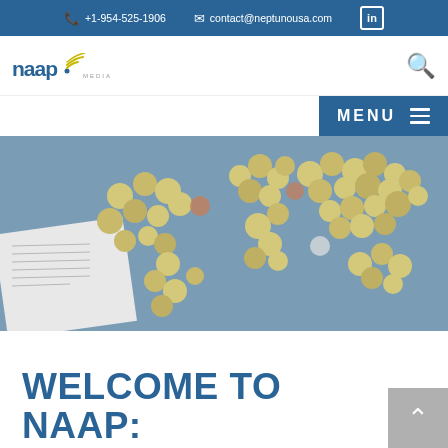+1-954-525-1906   contact@neptunousa.com   in
[Figure (logo): NAAP Media logo with signal/wifi arc icon and text 'naap' in blue with 'media' below]
[Figure (photo): Aerial view of coins arranged in the shape of a world map on a blue table surface, with a financial document partially visible on the left]
WELCOME TO NAAP: